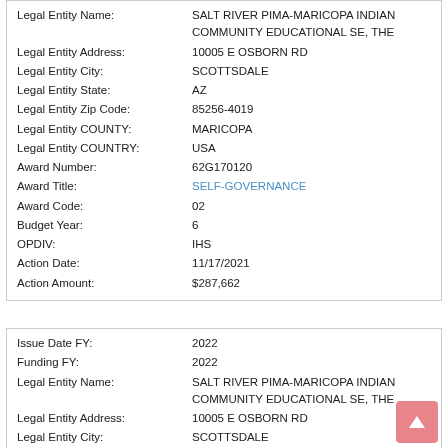| Field | Value |
| --- | --- |
| Legal Entity Name: | SALT RIVER PIMA-MARICOPA INDIAN COMMUNITY EDUCATIONAL SE, THE |
| Legal Entity Address: | 10005 E OSBORN RD |
| Legal Entity City: | SCOTTSDALE |
| Legal Entity State: | AZ |
| Legal Entity Zip Code: | 85256-4019 |
| Legal Entity COUNTY: | MARICOPA |
| Legal Entity COUNTRY: | USA |
| Award Number: | 62G170120 |
| Award Title: | SELF-GOVERNANCE |
| Award Code: | 02 |
| Budget Year: | 6 |
| OPDIV: | IHS |
| Action Date: | 11/17/2021 |
| Action Amount: | $287,662 |
| Field | Value |
| --- | --- |
| Issue Date FY: | 2022 |
| Funding FY: | 2022 |
| Legal Entity Name: | SALT RIVER PIMA-MARICOPA INDIAN COMMUNITY EDUCATIONAL SE, THE |
| Legal Entity Address: | 10005 E OSBORN RD |
| Legal Entity City: | SCOTTSDALE |
| Legal Entity State: | AZ |
| Legal Entity Zip Code: | 85256-4019 |
| Legal Entity COUNTY: | MARICOPA |